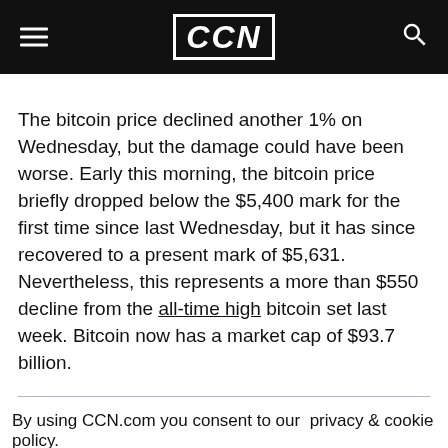CCN
The bitcoin price declined another 1% on Wednesday, but the damage could have been worse. Early this morning, the bitcoin price briefly dropped below the $5,400 mark for the first time since last Wednesday, but it has since recovered to a present mark of $5,631. Nevertheless, this represents a more than $550 decline from the all-time high bitcoin set last week. Bitcoin now has a market cap of $93.7 billion.
By using CCN.com you consent to our  privacy & cookie policy.
Continue